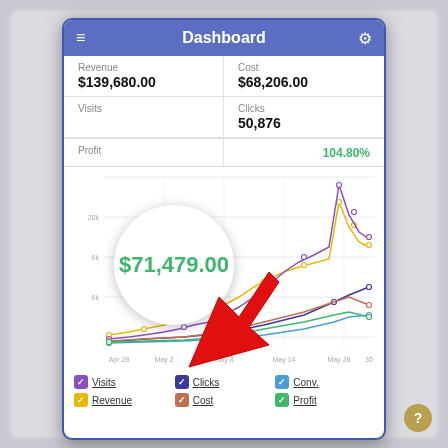Dashboard
| Metric | Value |
| --- | --- |
| Revenue | $139,680.00 |
| Cost | $68,206.00 |
| Visits |  |
| Clicks | 50,876 |
| Profit | $71,479.00 |
|  | 104.80% |
[Figure (line-chart): Dashboard metrics over time]
Visits  Clicks  Conv.  Revenue  Cost  Profit